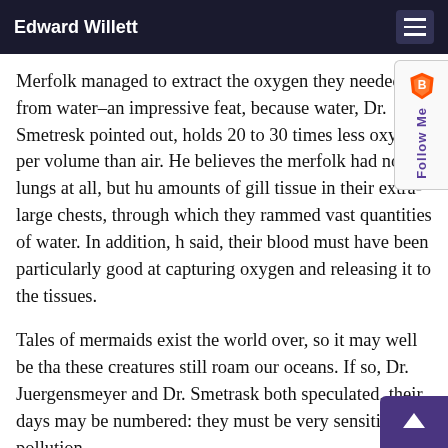Edward Willett
Merfolk managed to extract the oxygen they needed from water–an impressive feat, because water, Dr. Smetresk pointed out, holds 20 to 30 times less oxygen per volume than air. He believes the merfolk had no lungs at all, but huge amounts of gill tissue in their extra-large chests, through which they rammed vast quantities of water. In addition, he said, their blood must have been particularly good at capturing oxygen and releasing it to the tissues.
Tales of mermaids exist the world over, so it may well be that these creatures still roam our oceans. If so, Dr. Juergensmeyer and Dr. Smetrask both speculated, their days may be numbered: they must be very sensitive to pollution.
“You’ve got to bring in water, parasites and all kinds of things from outside into this very delicate area,” Dr. Smetresk said. “It would have to be their Achilles heel.”